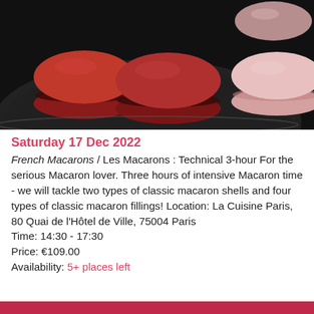[Figure (photo): Overhead photo of red and pink French macarons arranged on a dark plate against a dark background]
Saturday 17 Dec 2022
French Macarons / Les Macarons : Technical 3-hour For the serious Macaron lover. Three hours of intensive Macaron time - we will tackle two types of classic macaron shells and four types of classic macaron fillings! Location: La Cuisine Paris, 80 Quai de l'Hôtel de Ville, 75004 Paris
Time: 14:30 - 17:30
Price: €109.00
Availability: 5+ places left